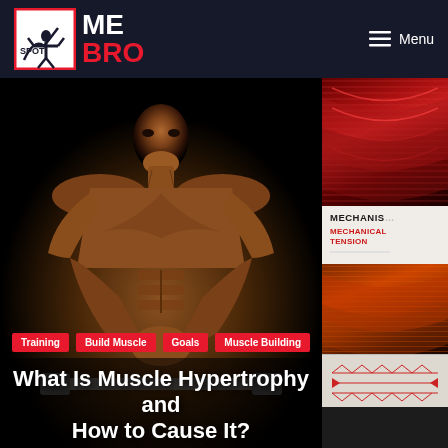[Figure (logo): SpotMeBro logo with red and white text on dark navy background header]
[Figure (photo): Muscular bodybuilder flexing with dramatic lighting against black background]
[Figure (photo): Right panel with micro anatomy/muscle fiber images and mechanisms of hypertrophy diagram]
Training
Build Muscle
Goals
Muscle Building
What Is Muscle Hypertrophy and How to Cause It?